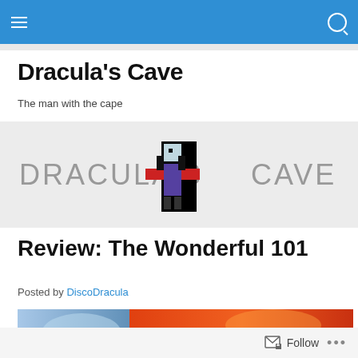Dracula's Cave – navigation bar with hamburger menu and search icon
Dracula's Cave
The man with the cape
[Figure (logo): Dracula's Cave logo: grey text 'DRACULA'S CAVE' with a pixel-art Minecraft-style character in the center holding red capes/wings]
Review: The Wonderful 101
Posted by DiscoDracula
[Figure (photo): Partial colorful banner image at the bottom of the page]
Follow  •••